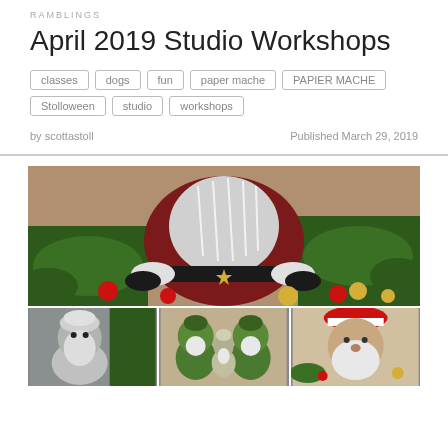RAMBLINGS
April 2019 Studio Workshops
classes  dogs  fun  paper mache  PAPIER MACHE  Stolloween  studio  workshops
by scottastoll
Published March 29, 2019
[Figure (photo): Top photo: paper mache Santa figure with black belt and star buckle, surrounded by pine branches and red and gold ornaments on a table. Bottom row left: grey-toned paper mache wizard/gnome figure. Bottom row center: two green troll/goblin paper mache figures with a small wizard figure between them. Bottom row right: Santa paper mache figure with red hat and white beard amid Christmas decorations.]